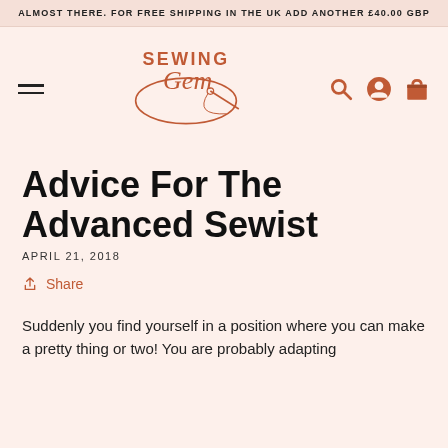ALMOST THERE. FOR FREE SHIPPING IN THE UK ADD ANOTHER £40.00 GBP
[Figure (logo): Sewing Gem logo with script text and needle/thread illustration in rust/terracotta color]
Advice For The Advanced Sewist
APRIL 21, 2018
Share
Suddenly you find yourself in a position where you can make a pretty thing or two! You are probably adapting